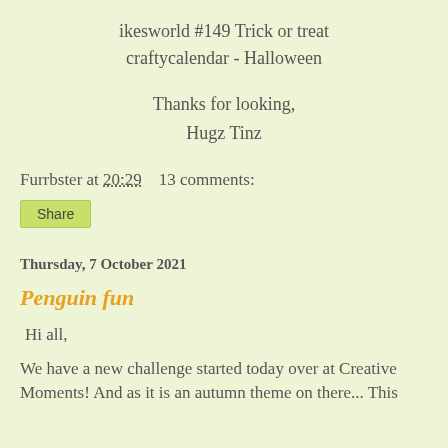ikesworld #149 Trick or treat
craftycalendar - Halloween
Thanks for looking,
Hugz Tinz
Furrbster at 20:29    13 comments:
Share
Thursday, 7 October 2021
Penguin fun
Hi all,
We have a new challenge started today over at Creative Moments! And as it is an autumn theme on there... This